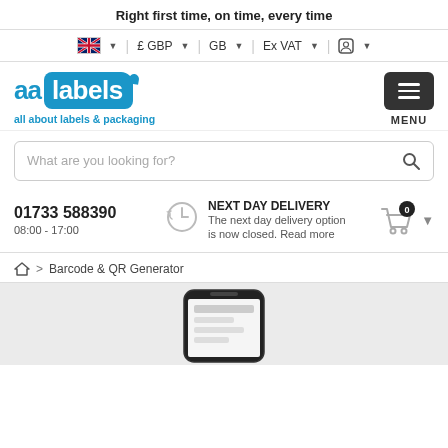Right first time, on time, every time
[Figure (screenshot): Locale/language selector bar with UK flag, £ GBP, GB, Ex VAT, and account icon with dropdown arrows]
[Figure (logo): aa labels logo — 'aa' in blue text next to 'labels' in white text on blue rounded rectangle background, subtitle 'all about labels & packaging' in blue]
[Figure (screenshot): Dark grey hamburger menu button with three white horizontal lines, labeled MENU below]
[Figure (screenshot): Search input box with placeholder 'What are you looking for?' and magnifying glass icon on right]
01733 588390
08:00 - 17:00
[Figure (illustration): Next day delivery speed/clock icon in grey]
NEXT DAY DELIVERY
The next day delivery option is now closed. Read more
[Figure (illustration): Shopping cart icon with black circle showing 0 badge]
🏠 > Barcode & QR Generator
[Figure (screenshot): Bottom grey hero section showing top portion of a smartphone mockup]